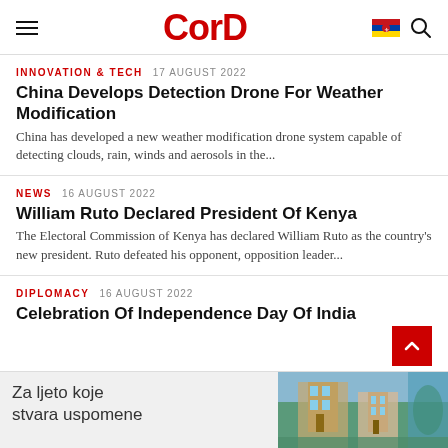CorD
INNOVATION & TECH  17 AUGUST 2022
China Develops Detection Drone For Weather Modification
China has developed a new weather modification drone system capable of detecting clouds, rain, winds and aerosols in the...
NEWS  16 AUGUST 2022
William Ruto Declared President Of Kenya
The Electoral Commission of Kenya has declared William Ruto as the country's new president. Ruto defeated his opponent, opposition leader...
DIPLOMACY  16 AUGUST 2022
Celebration Of Independence Day Of India
Za ljeto koje stvara uspomene